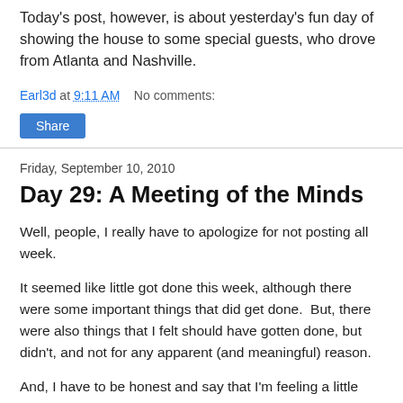Today's post, however, is about yesterday's fun day of showing the house to some special guests, who drove from Atlanta and Nashville.
Earl3d at 9:11 AM    No comments:
Share
Friday, September 10, 2010
Day 29: A Meeting of the Minds
Well, people, I really have to apologize for not posting all week.
It seemed like little got done this week, although there were some important things that did get done.  But, there were also things that I felt should have gotten done, but didn't, and not for any apparent (and meaningful) reason.
And, I have to be honest and say that I'm feeling a little burnt